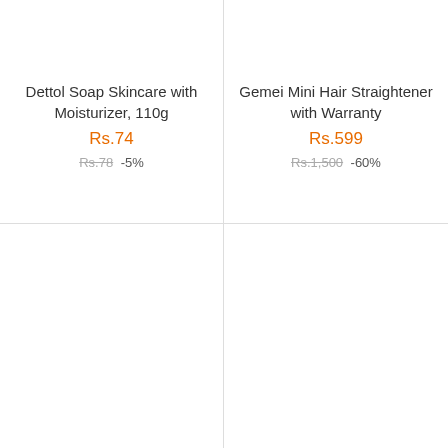Dettol Soap Skincare with Moisturizer, 110g
Rs.74
Rs.78 -5%
Gemei Mini Hair Straightener with Warranty
Rs.599
Rs.1,500 -60%